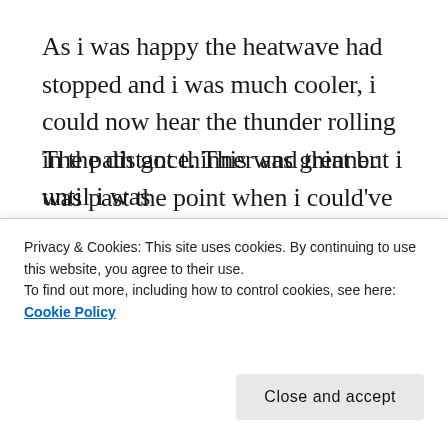As i was happy the heatwave had stopped and i was much cooler, i could now hear the thunder rolling in the distance. This was great but i was past the point when i could've turned round and gone back…But i'd shuffled further in to the woods thinking i could find my furthest audio beacon and create a cool new larger lap! 😨
The path got thinner and thinner until i was
Privacy & Cookies: This site uses cookies. By continuing to use this website, you agree to their use.
To find out more, including how to control cookies, see here: Cookie Policy
Close and accept